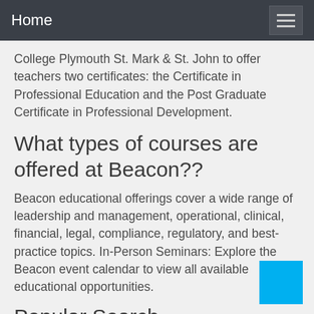Home
College Plymouth St. Mark & St. John to offer teachers two certificates: the Certificate in Professional Education and the Post Graduate Certificate in Professional Development.
What types of courses are offered at Beacon??
Beacon educational offerings cover a wide range of leadership and management, operational, clinical, financial, legal, compliance, regulatory, and best-practice topics. In-Person Seminars: Explore the Beacon event calendar to view all available educational opportunities.
Popular Search